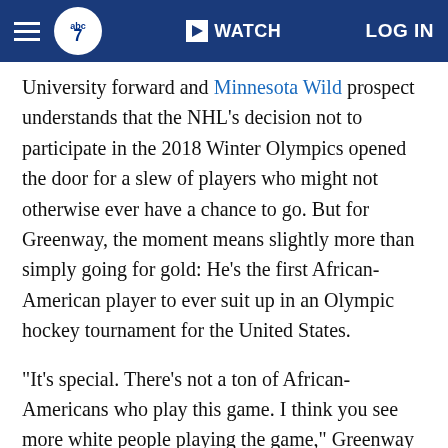ABC7 — WATCH | LOG IN
University forward and Minnesota Wild prospect understands that the NHL's decision not to participate in the 2018 Winter Olympics opened the door for a slew of players who might not otherwise ever have a chance to go. But for Greenway, the moment means slightly more than simply going for gold: He's the first African-American player to ever suit up in an Olympic hockey tournament for the United States.
"It's special. There's not a ton of African-Americans who play this game. I think you see more white people playing the game," Greenway told ESPN at the Winter Classic on Monday. "So this gives me a chance to influence kids who have my skin color. To have them try out different things. To have them not